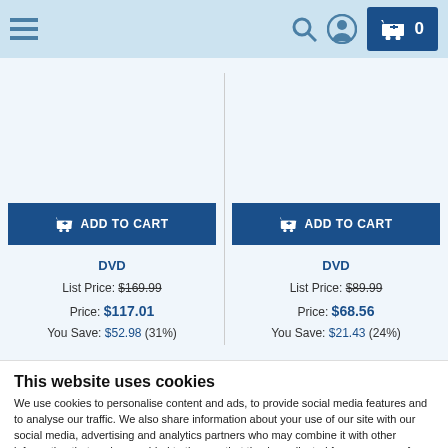Navigation bar with menu, search, account, and cart (0 items)
DVD
List Price: $169.99
Price: $117.01
You Save: $52.98 (31%)
DVD
List Price: $89.99
Price: $68.56
You Save: $21.43 (24%)
This website uses cookies
We use cookies to personalise content and ads, to provide social media features and to analyse our traffic. We also share information about your use of our site with our social media, advertising and analytics partners who may combine it with other information that you've provided to them or that they've collected from your use of their services.